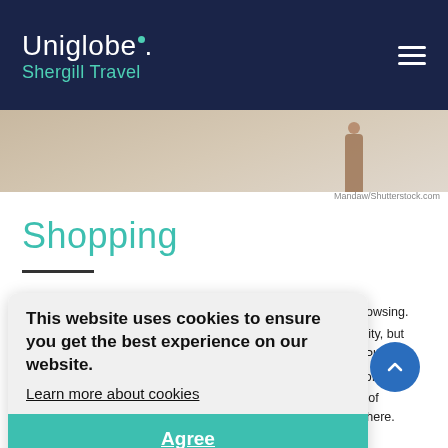Uniglobe. Shergill Travel
[Figure (photo): Partial photo strip showing a beach or outdoor scene with a figure on the right side]
Mandaw/Shutterstock.com
Shopping
This website uses cookies to ensure you get the best experience on our website. Learn more about cookies
resting browsing. ts of the city, but focus on Plaça last one offers hout its of bes, quirky shops, and everything you can think of, you will find here.